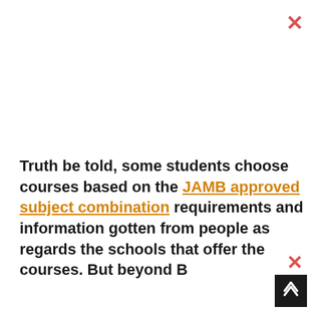Truth be told, some students choose courses based on the JAMB approved subject combination requirements and information gotten from people as regards the schools that offer the courses. But beyond B...